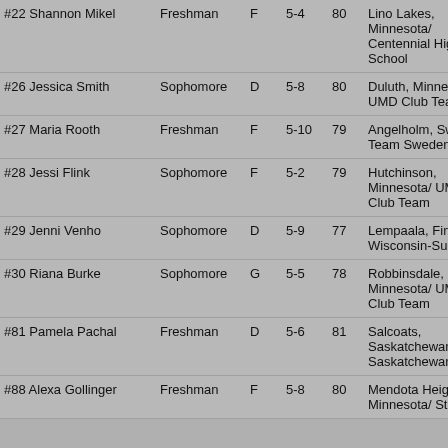| Name | Year | Pos | Ht | Wt | Hometown/Prev Team |
| --- | --- | --- | --- | --- | --- |
| #22 Shannon Mikel | Freshman | F | 5-4 | 80 | Lino Lakes, Minnesota/ Centennial High School |
| #26 Jessica Smith | Sophomore | D | 5-8 | 80 | Duluth, Minnesota/ UMD Club Team |
| #27 Maria Rooth | Freshman | F | 5-10 | 79 | Angelholm, Sweden/ Team Sweden |
| #28 Jessi Flink | Sophomore | F | 5-2 | 79 | Hutchinson, Minnesota/ UMD Club Team |
| #29 Jenni Venho | Sophomore | D | 5-9 | 77 | Lempaala, Finland/ Wisconsin-Superior |
| #30 Riana Burke | Sophomore | G | 5-5 | 78 | Robbinsdale, Minnesota/ UMD Club Team |
| #81 Pamela Pachal | Freshman | D | 5-6 | 81 | Salcoats, Saskatchewan/ Team Saskatchewan |
| #88 Alexa Gollinger | Freshman | F | 5-8 | 80 | Mendota Heights, Minnesota/ St. Paul |